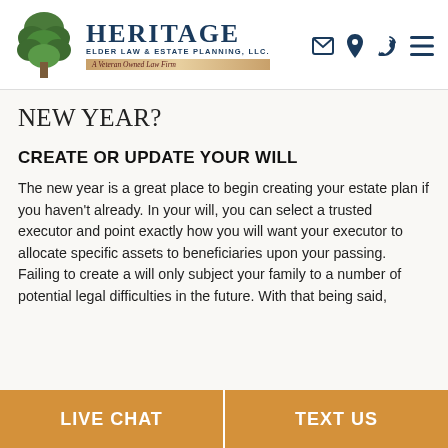[Figure (logo): Heritage Elder Law & Estate Planning, LLC. logo with tree graphic and tagline 'A Veteran Owned Law Firm']
NEW YEAR?
CREATE OR UPDATE YOUR WILL
The new year is a great place to begin creating your estate plan if you haven't already. In your will, you can select a trusted executor and point exactly how you will want your executor to allocate specific assets to beneficiaries upon your passing. Failing to create a will only subject your family to a number of potential legal difficulties in the future. With that being said,
LIVE CHAT | TEXT US